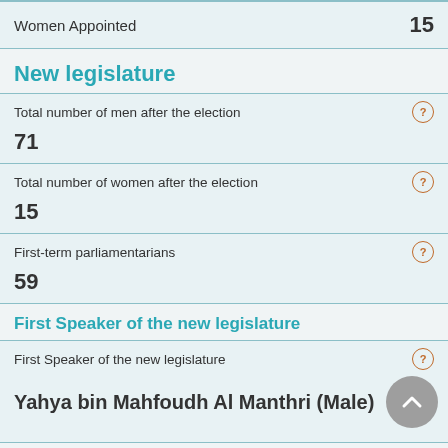| Field | Value |
| --- | --- |
| Women Appointed | 15 |
New legislature
| Field | Value |
| --- | --- |
| Total number of men after the election | 71 |
| Total number of women after the election | 15 |
| First-term parliamentarians | 59 |
First Speaker of the new legislature
| Field | Value |
| --- | --- |
| First Speaker of the new legislature | Yahya bin Mahfoudh Al Manthri (Male) |